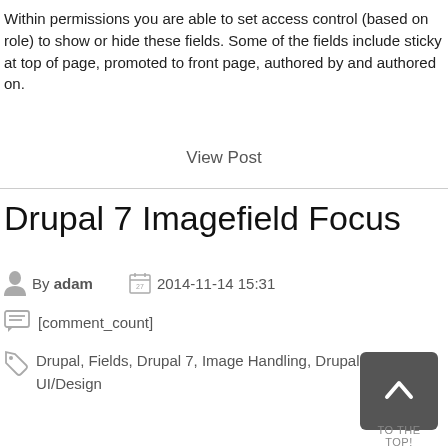Within permissions you are able to set access control (based on role) to show or hide these fields. Some of the fields include sticky at top of page, promoted to front page, authored by and authored on.
View Post
Drupal 7 Imagefield Focus
By adam   2014-11-14 15:31
[comment_count]
Drupal, Fields, Drupal 7, Image Handling, Drupal Planet, UI/Design